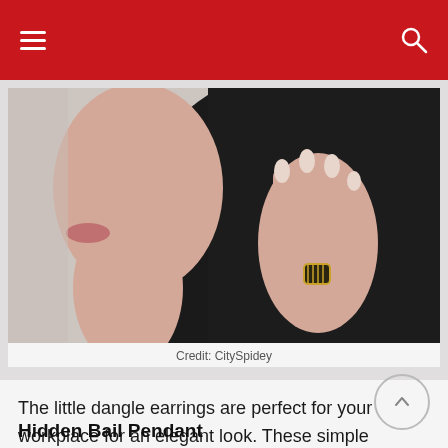navigation header with hamburger menu and search icon
[Figure (photo): Side profile of a woman wearing a black blazer, touching her neck with one hand, wearing a gold ring with dark stone on her finger. Photo credit: CitySpidey.]
Credit: CitySpidey
The little dangle earrings are perfect for your workplace for an elegant look. These simple earrings are light, simple and classy that will make you look gorgeous.
Hidden Bail Pendant